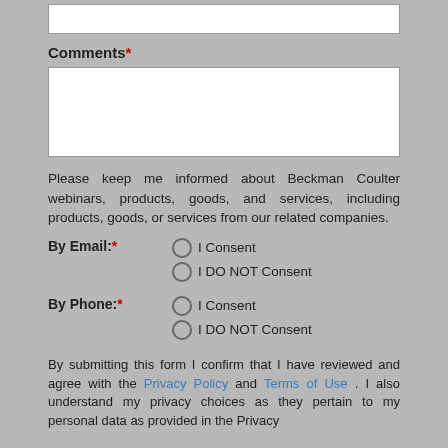Comments*
Please keep me informed about Beckman Coulter webinars, products, goods, and services, including products, goods, or services from our related companies.
By Email:* ○ I Consent ○ I DO NOT Consent
By Phone:* ○ I Consent ○ I DO NOT Consent
By submitting this form I confirm that I have reviewed and agree with the Privacy Policy and Terms of Use . I also understand my privacy choices as they pertain to my personal data as provided in the Privacy